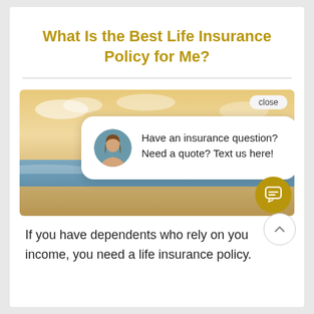What Is the Best Life Insurance Policy for Me?
[Figure (screenshot): Beach scene with a chat popup overlay. The popup shows a woman's avatar photo and the text 'Have an insurance question? Need a quote? Text us here!' with a close button. A gold chat icon button and a back-to-top arrow button appear in the lower right corner.]
If you have dependents who rely on your income, you need a life insurance policy.